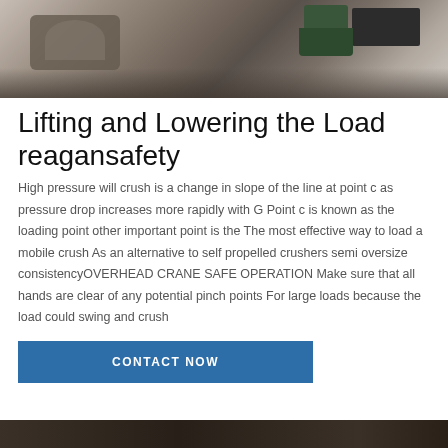[Figure (photo): Close-up photo of industrial mechanical parts including bearings, flanges and metal components on a white background]
Lifting and Lowering the Load reagansafety
High pressure will crush is a change in slope of the line at point c as pressure drop increases more rapidly with G Point c is known as the loading point other important point is the The most effective way to load a mobile crush As an alternative to self propelled crushers semi oversize consistencyOVERHEAD CRANE SAFE OPERATION Make sure that all hands are clear of any potential pinch points For large loads because the load could swing and crush
CONTACT NOW
[Figure (photo): Bottom portion of another industrial machinery photo, dark tones]